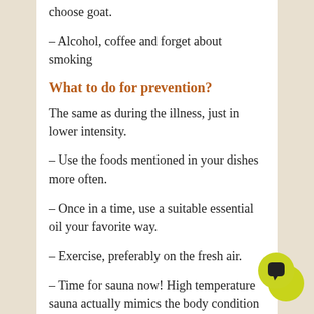choose goat.
– Alcohol, coffee and forget about smoking
What to do for prevention?
The same as during the illness, just in lower intensity.
– Use the foods mentioned in your dishes more often.
– Once in a time, use a suitable essential oil your favorite way.
– Exercise, preferably on the fresh air.
– Time for sauna now! High temperature sauna actually mimics the body condition of fever – activates defense system that destroys bacteria and viruses